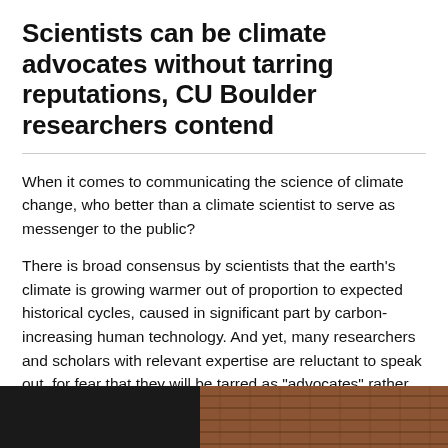Scientists can be climate advocates without tarring reputations, CU Boulder researchers contend
When it comes to communicating the science of climate change, who better than a climate scientist to serve as messenger to the public?
There is broad consensus by scientists that the earth’s climate is growing warmer out of proportion to expected historical cycles, caused in significant part by carbon-increasing human technology. And yet, many researchers and scholars with relevant expertise are reluctant to speak out, for fear that they will be tarred as “advocates” rather than objective scientists, at a cost to their reputations or those of their particular disciplines.
[Figure (photo): Bottom portion of the page showing a partially visible image: dark/black area on the left and a terracotta/brick roof or wall texture on the right.]